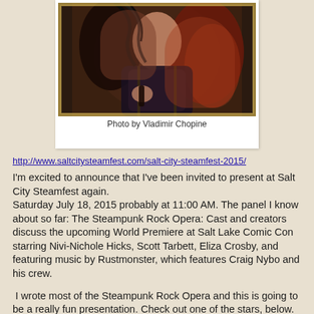[Figure (photo): A steampunk-styled woman with dark curly red hair holding a prop, set against a dark painted background resembling a classical portrait style.]
Photo by Vladimir Chopine
http://www.saltcitysteamfest.com/salt-city-steamfest-2015/
I'm excited to announce that I've been invited to present at Salt City Steamfest again.
Saturday July 18, 2015 probably at 11:00 AM. The panel I know about so far: The Steampunk Rock Opera: Cast and creators discuss the upcoming World Premiere at Salt Lake Comic Con starring Nivi-Nichole Hicks, Scott Tarbett, Eliza Crosby, and featuring music by Rustmonster, which features Craig Nybo and his crew.
I wrote most of the Steampunk Rock Opera and this is going to be a really fun presentation. Check out one of the stars, below. Nivi Pix,